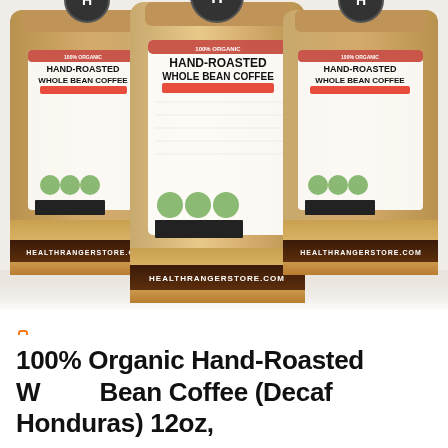[Figure (photo): Three kraft paper bags of Health Ranger Store 100% Organic Hand-Roasted Whole Bean Coffee (Decaf Honduras), arranged side by side, showing the product labels and coffee beans at the bottom. The brand website HEALTHRANGERSTORE.COM is visible on a dark brown band across the bags.]
100% Organic Hand-Roasted Whole Bean Coffee (Decaf Honduras) 12oz,